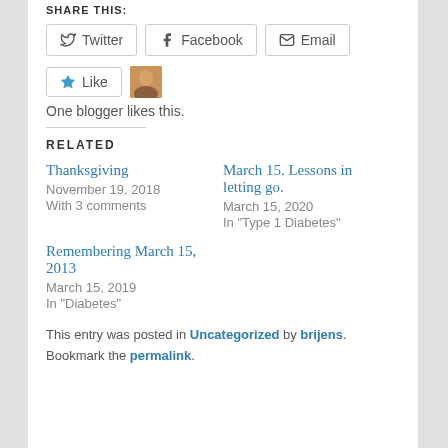SHARE THIS:
Twitter  Facebook  Email
Like  One blogger likes this.
RELATED
Thanksgiving
November 19, 2018
With 3 comments
March 15. Lessons in letting go.
March 15, 2020
In "Type 1 Diabetes"
Remembering March 15, 2013
March 15, 2019
In "Diabetes"
This entry was posted in Uncategorized by brijens. Bookmark the permalink.